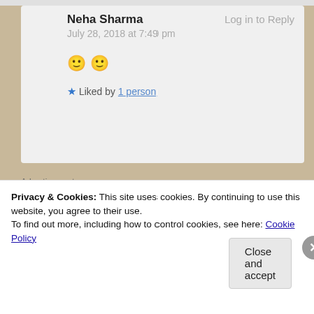Neha Sharma — Log in to Reply — July 28, 2018 at 7:49 pm — 🙂 🙂 — ★ Liked by 1 person
[Figure (screenshot): Ad banner: Your Journal for life — DAYONE app ad on blue background]
sushma555 — Log in to Reply
Privacy & Cookies: This site uses cookies. By continuing to use this website, you agree to their use. To find out more, including how to control cookies, see here: Cookie Policy — Close and accept